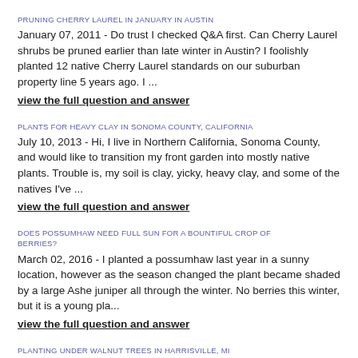PRUNING CHERRY LAUREL IN JANUARY IN AUSTIN
January 07, 2011 - Do trust I checked Q&A first. Can Cherry Laurel shrubs be pruned earlier than late winter in Austin? I foolishly planted 12 native Cherry Laurel standards on our suburban property line 5 years ago. I ...
view the full question and answer
PLANTS FOR HEAVY CLAY IN SONOMA COUNTY, CALIFORNIA
July 10, 2013 - Hi, I live in Northern California, Sonoma County, and would like to transition my front garden into mostly native plants. Trouble is, my soil is clay, yicky, heavy clay, and some of the natives I've ...
view the full question and answer
DOES POSSUMHAW NEED FULL SUN FOR A BOUNTIFUL CROP OF BERRIES?
March 02, 2016 - I planted a possumhaw last year in a sunny location, however as the season changed the plant became shaded by a large Ashe juniper all through the winter. No berries this winter, but it is a young pla...
view the full question and answer
PLANTING UNDER WALNUT TREES IN HARRISVILLE, MI